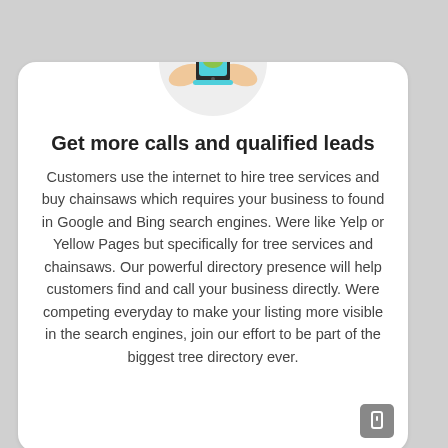[Figure (illustration): Circular icon showing two hands holding a smartphone with a person/contact icon displayed on the screen, with cyan/teal colored accents on the phone.]
Get more calls and qualified leads
Customers use the internet to hire tree services and buy chainsaws which requires your business to found in Google and Bing search engines. Were like Yelp or Yellow Pages but specifically for tree services and chainsaws. Our powerful directory presence will help customers find and call your business directly. Were competing everyday to make your listing more visible in the search engines, join our effort to be part of the biggest tree directory ever.